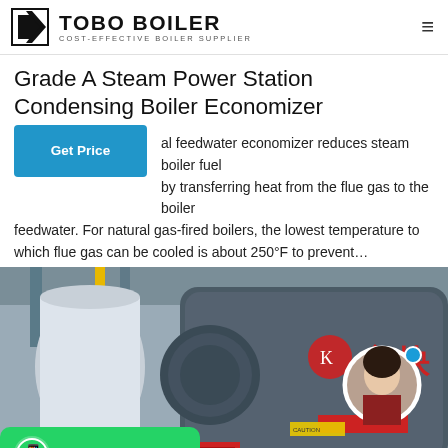TOBO BOILER — COST-EFFECTIVE BOILER SUPPLIER
Grade A Steam Power Station Condensing Boiler Economizer
A feedwater economizer reduces steam boiler fuel by transferring heat from the flue gas to the boiler feedwater. For natural gas-fired boilers, the lowest temperature to which flue gas can be cooled is about 250°F to prevent…
[Figure (photo): Industrial boiler installation showing large horizontal cylindrical boiler units in a factory setting, with yellow pipes, red components, and Chinese text branding. Includes an agent profile photo overlay and a WhatsApp contact button.]